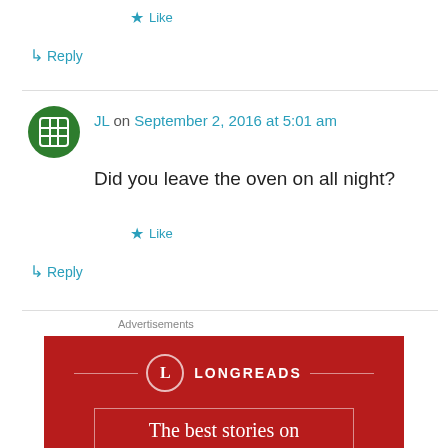★ Like
↳ Reply
[Figure (illustration): Green circular avatar with white grid icon]
JL on September 2, 2016 at 5:01 am
Did you leave the oven on all night?
★ Like
↳ Reply
Advertisements
[Figure (illustration): Longreads advertisement banner with red background, circular L logo, brand name LONGREADS, and text 'The best stories on the web – ours, and']